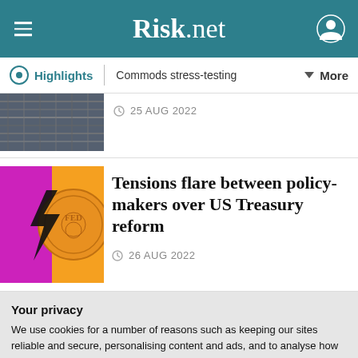Risk.net
Highlights | Commods stress-testing | More
25 AUG 2022
Tensions flare between policy-makers over US Treasury reform
26 AUG 2022
Your privacy
We use cookies for a number of reasons such as keeping our sites reliable and secure, personalising content and ads, and to analyse how our sites are used. To find out more please read our updated privacy policy.
ACCEPT AND CONTINUE